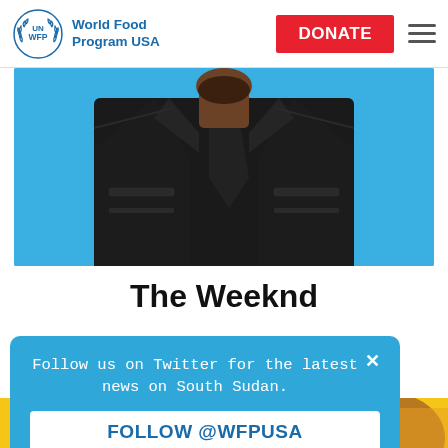UN WFP World Food Program USA | DONATE
[Figure (photo): Photo of The Weeknd, chest and neck visible, wearing a black coat and black tie against a bright blue background]
The Weeknd
Follow us on Twitter for the latest news on South Sudan.
FOLLOW @WFPUSA
[Figure (photo): Bottom strip showing a partial image with yellow/golden tones]